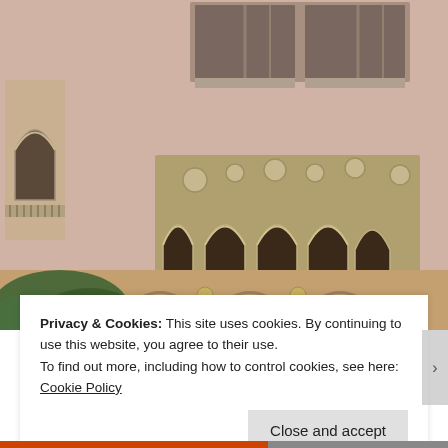[Figure (photo): Photograph of a Venetian Gothic style building facade with pink/rose stucco walls, ornate Gothic arched windows with trefoil tracery, decorative medallions, Venetian-style balconies with balusters, and brick arched arcade at the lower level. Green tropical foliage visible at bottom left.]
Privacy & Cookies: This site uses cookies. By continuing to use this website, you agree to their use.
To find out more, including how to control cookies, see here: Cookie Policy
Close and accept